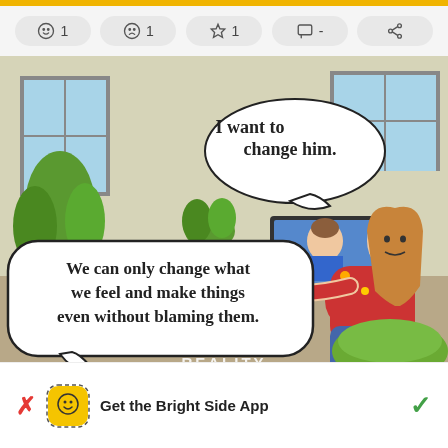[Figure (illustration): Screenshot of a social media post showing reaction buttons (smiley 1, sad 1, star 1, comment -, share) above a comic illustration of a woman sitting on a bean bag at a desk with a laptop, with a man visible on the laptop screen. Speech bubble from woman says 'I want to change him.' and a large speech bubble at bottom says 'We can only change what we feel and make things even without blaming them.' The word REALITY appears at the bottom of the illustration.]
Get the Bright Side App